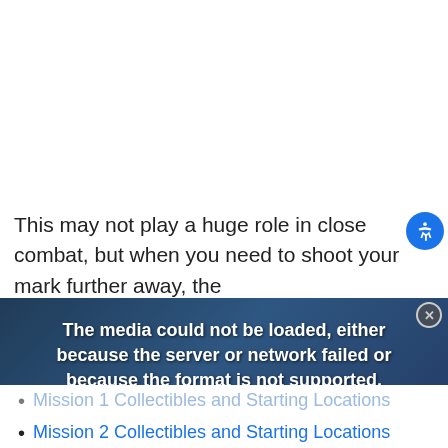This may not play a huge role in close combat, but when you need to shoot your mark further away, the
[Figure (screenshot): Video player showing a media error overlay: 'The media could not be loaded, either because the server or network failed or because the format is not supported.' with an X dismiss button and a sidebar showing 'Why Did The NFL Watson An 11-Game Suspension?']
Mission 1 Collectibles and Starting Locations
Mission 2 Collectibles and Starting Locations
Mission 3 Collectibles and Starting Locations